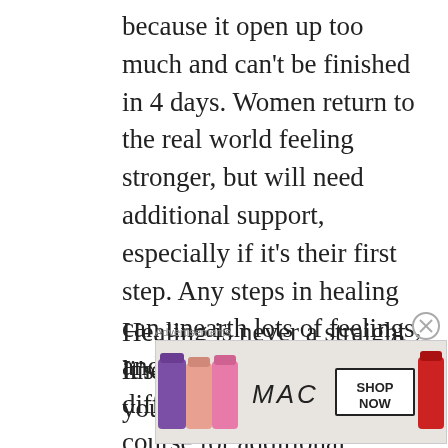because it open up too much and can't be finished in 4 days. Women return to the real world feeling stronger, but will need additional support, especially if it's their first step. Any steps in healing can unearth lots of feelings, and the retreat is no different. They offer a course for additional support, check in on your and are available.
Healing is never a straight line.
It's a double standard how you keep
Advertisements
[Figure (other): MAC cosmetics advertisement banner showing colorful lipsticks, MAC logo, and SHOP NOW button]